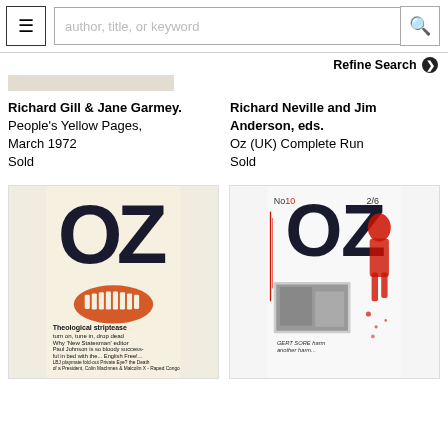≡  author, title, or keyword  🔍
Refine Search ❯
[Figure (photo): Partial image of a book cover visible at the top]
Richard Gill & Jane Garmey.
People's Yellow Pages, March 1972
Sold
Richard Neville and Jim Anderson, eds.
Oz (UK) Complete Run
Sold
[Figure (photo): Cover of Oz magazine showing large OZ lettering with smiling mouth graphic, text: Theological striptease turn on, tune in, drop dead Why 'New Statesman' editor Paul Johnson is so bloody successful in bed with the... English Free!... LBJ playmate fold-out Private Eye? the Death of a President, Colin MacInnes & Malcolm X - Raped Congo]
[Figure (photo): Cover of Oz magazine No 10, 2/6, showing large OZ lettering with red paint splatter figure graphic and photographic collage]